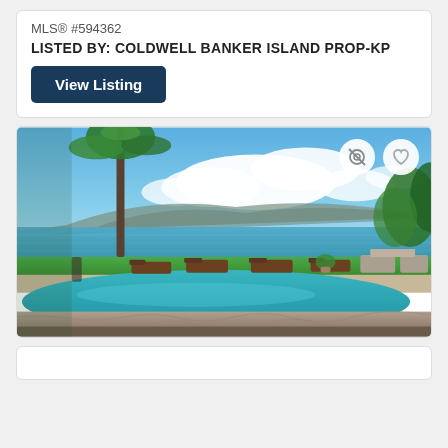MLS® #594362
LISTED BY: COLDWELL BANKER ISLAND PROP-KP
View Listing
[Figure (photo): Outdoor pool area with lounge chairs overlooking the ocean and mountains, palm trees and lush greenery, blue sky with white clouds, stone patio in foreground]